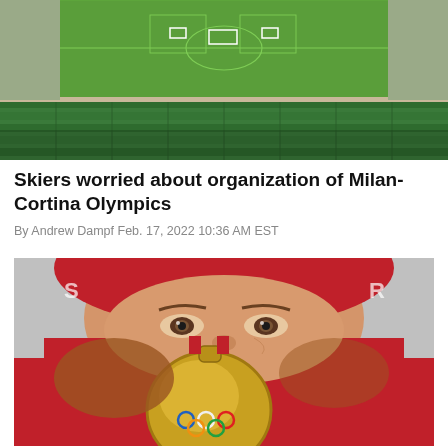[Figure (photo): Aerial view of an empty football stadium with green pitch, white goal posts, and green spectator seating]
Skiers worried about organization of Milan-Cortina Olympics
By Andrew Dampf Feb. 17, 2022 10:36 AM EST
[Figure (photo): Close-up of a female athlete in red winter gear holding a gold Olympic medal up to her face, eyes visible above the medal]